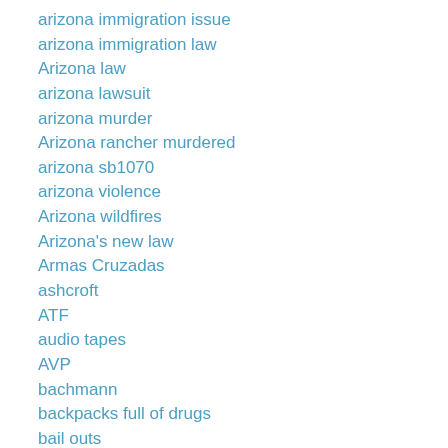arizona immigration issue
arizona immigration law
Arizona law
arizona lawsuit
arizona murder
Arizona rancher murdered
arizona sb1070
arizona violence
Arizona wildfires
Arizona's new law
Armas Cruzadas
ashcroft
ATF
audio tapes
AVP
bachmann
backpacks full of drugs
bail outs
bailouts
banking